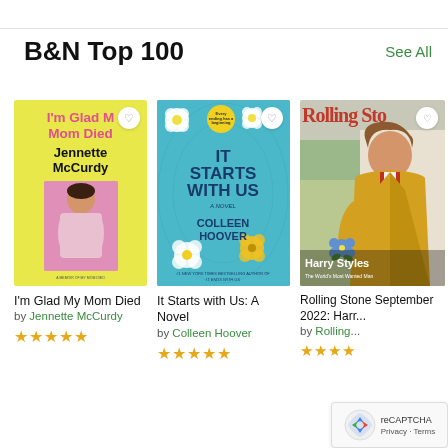B&N Top 100
See All
[Figure (photo): Book cover: I'm Glad My Mom Died by Jennette McCurdy, yellow background with pink title text and author photo]
I'm Glad My Mom Died
by Jennette McCurdy
★★★★★
[Figure (photo): Book cover: It Starts with Us: A Novel by Colleen Hoover, teal/aqua background with white flowers and bold dark blue title text]
It Starts with Us: A Novel
by Colleen Hoover
★★★★★
[Figure (photo): Rolling Stone September 2022 magazine cover featuring Harry Styles in a yellow robe]
Rolling Stone September 2022: Harry Styles
by Rolling Stone
★★★★